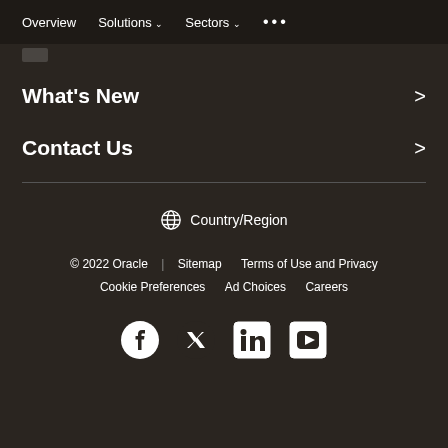Overview  Solutions  Sectors  ...
What's New
Contact Us
Country/Region
© 2022 Oracle | Sitemap  Terms of Use and Privacy  Cookie Preferences  Ad Choices  Careers
[Figure (other): Social media icons: Facebook, Twitter, LinkedIn, YouTube]